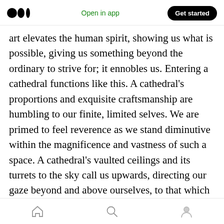Medium logo | Open in app | Get started
art elevates the human spirit, showing us what is possible, giving us something beyond the ordinary to strive for; it ennobles us. Entering a cathedral functions like this. A cathedral's proportions and exquisite craftsmanship are humbling to our finite, limited selves. We are primed to feel reverence as we stand diminutive within the magnificence and vastness of such a space. A cathedral's vaulted ceilings and its turrets to the sky call us upwards, directing our gaze beyond and above ourselves, to that which is outside of our earthly understanding. It is good
Home | Search | Profile